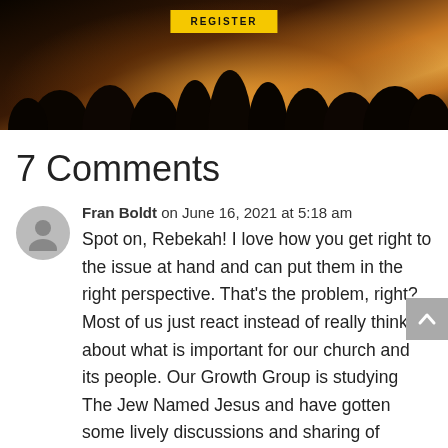[Figure (photo): Banner photo showing a crowd of people from behind silhouetted against bright warm stage lighting, with a yellow REGISTER button at the top center.]
7 Comments
[Figure (illustration): Gray circular avatar placeholder showing a generic person silhouette.]
Fran Boldt on June 16, 2021 at 5:18 am
Spot on, Rebekah! I love how you get right to the issue at hand and can put them in the right perspective. That's the problem, right? Most of us just react instead of really thinking about what is important for our church and its people. Our Growth Group is studying The Jew Named Jesus and have gotten some lively discussions and sharing of different perspectives. We've been